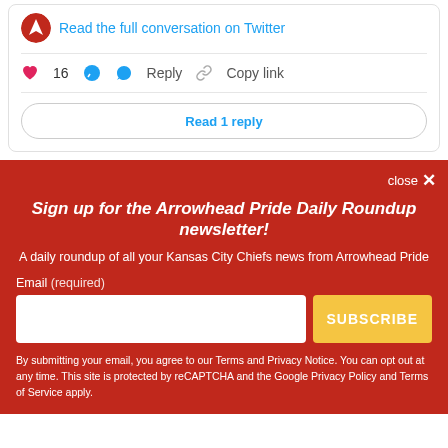Read the full conversation on Twitter
♥ 16   💬 Reply   🔗 Copy link
Read 1 reply
Sign up for the Arrowhead Pride Daily Roundup newsletter!
A daily roundup of all your Kansas City Chiefs news from Arrowhead Pride
Email (required)
SUBSCRIBE
By submitting your email, you agree to our Terms and Privacy Notice. You can opt out at any time. This site is protected by reCAPTCHA and the Google Privacy Policy and Terms of Service apply.